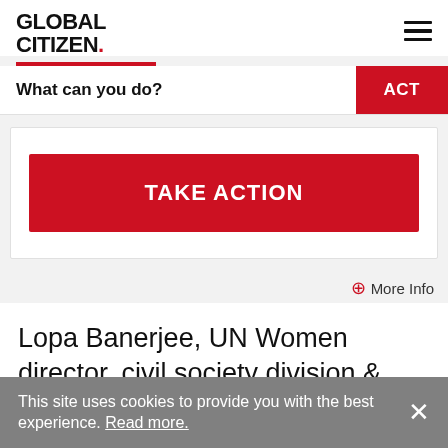GLOBAL CITIZEN.
What can you do?
ACT
TAKE ACTION
More Info
Lopa Banerjee, UN Women director, civil society division & executive coordinator, Generation Equality Forum, is bringing years of experience
This site uses cookies to provide you with the best experience. Read more.